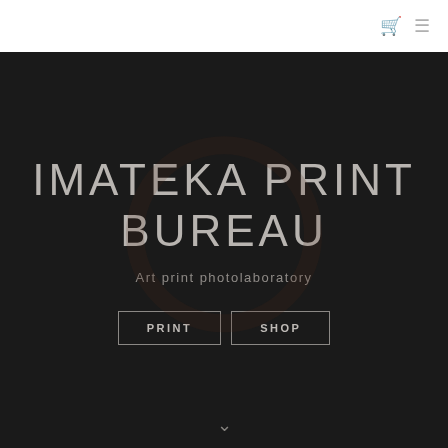🛒 ≡
IMATEKA PRINT BUREAU
Art print photolaboratory
PRINT  SHOP
[Figure (other): Down chevron arrow symbol at bottom center]